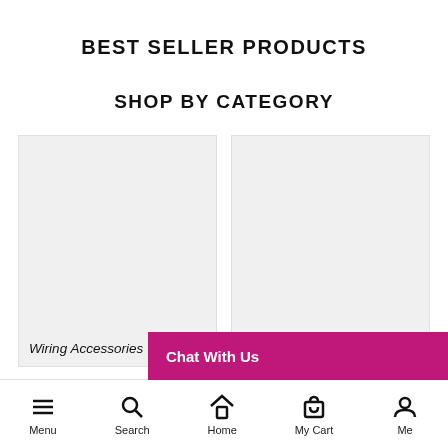BEST SELLER PRODUCTS
SHOP BY CATEGORY
[Figure (screenshot): Two category cards side by side: left card shows 'Wiring Accessories', right card shows 'Light Bulbs & Tubes', both with light grey placeholder image backgrounds]
Chat With Us
Menu  Search  Home  My Cart  Me